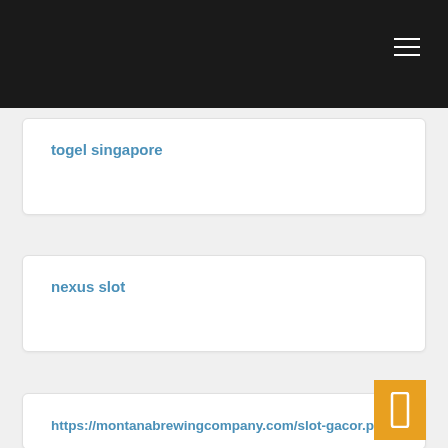togel singapore
nexus slot
https://montanabrewingcompany.com/slot-gacor.php